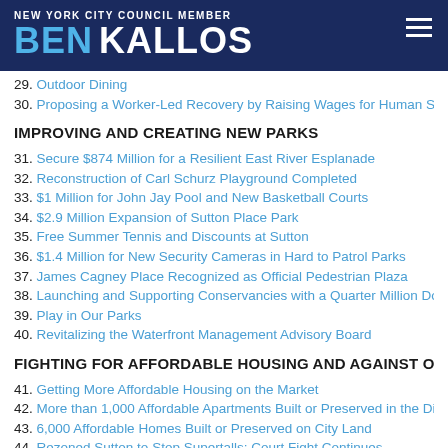NEW YORK CITY COUNCIL MEMBER BEN KALLOS
29. Outdoor Dining
30. Proposing a Worker-Led Recovery by Raising Wages for Human Service
IMPROVING AND CREATING NEW PARKS
31. Secure $874 Million for a Resilient East River Esplanade
32. Reconstruction of Carl Schurz Playground Completed
33. $1 Million for John Jay Pool and New Basketball Courts
34. $2.9 Million Expansion of Sutton Place Park
35. Free Summer Tennis and Discounts at Sutton
36. $1.4 Million for New Security Cameras in Hard to Patrol Parks
37. James Cagney Place Recognized as Official Pedestrian Plaza
38. Launching and Supporting Conservancies with a Quarter Million Dollars
39. Play in Our Parks
40. Revitalizing the Waterfront Management Advisory Board
FIGHTING FOR AFFORDABLE HOUSING AND AGAINST OVERDE
41. Getting More Affordable Housing on the Market
42. More than 1,000 Affordable Apartments Built or Preserved in the District
43. 6,000 Affordable Homes Built or Preserved on City Land
44. Rezoned Sutton to Stop Supertalls; Court Fight Continues